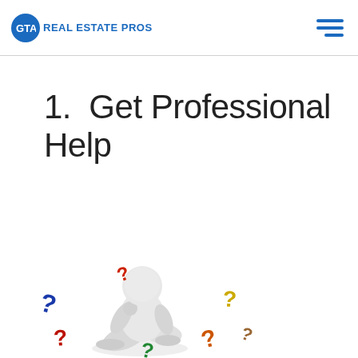GTA REAL ESTATE PROS
1.  Get Professional Help
[Figure (illustration): 3D white figure sitting on ground surrounded by colorful question marks (red, blue, green, yellow, orange, brown)]